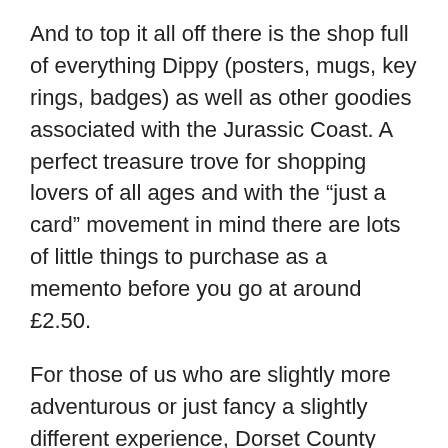And to top it all off there is the shop full of everything Dippy (posters, mugs, key rings, badges) as well as other goodies associated with the Jurassic Coast. A perfect treasure trove for shopping lovers of all ages and with the “just a card” movement in mind there are lots of little things to purchase as a memento before you go at around £2.50.
For those of us who are slightly more adventurous or just fancy a slightly different experience, Dorset County Museum is opening its doors after hours so you are able to see Dippy at night! Think Night at the Museum! You will need to book your ticket though for this special occasions and there is an admission fee.